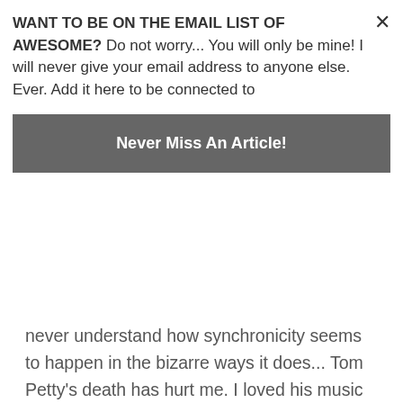never understand how synchronicity seems to happen in the bizarre ways it does... Tom Petty's death has hurt me. I loved his music and the way he carried himself as the coolest and most casual person one could ever wish to meet.  He is one of my heroes. I have been listening to so much of his music again over the...
WANT TO BE ON THE EMAIL LIST OF AWESOME? Do not worry... You will only be mine! I will never give your email address to anyone else. Ever. Add it here to be connected to
Never Miss An Article!
[Figure (photo): Concert stage photo showing musicians performing, with blue stage lighting, instruments visible including guitar, against a dark background with pink light in upper right corner.]